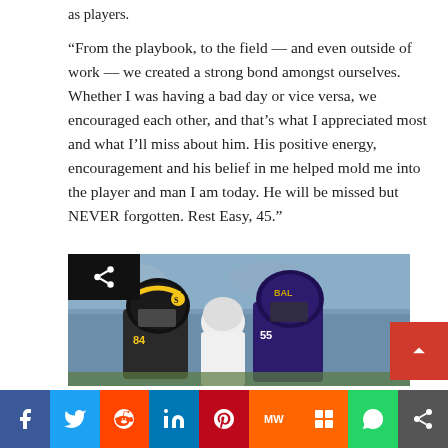as players.
“From the playbook, to the field — and even outside of work — we created a strong bond amongst ourselves. Whether I was having a bad day or vice versa, we encouraged each other, and that’s what I appreciated most and what I’ll miss about him. His positive energy, encouragement and his belief in me helped mold me into the player and man I am today. He will be missed but NEVER forgotten. Rest Easy, 45.”
[Figure (photo): Two NFL football players facing each other, one in a Pittsburgh Steelers black helmet with yellow stripes, one in a Baltimore Ravens purple helmet and uniform.]
Share buttons: Facebook, Twitter, Reddit, LinkedIn, Pinterest, MeWe, Mix, WhatsApp, Share